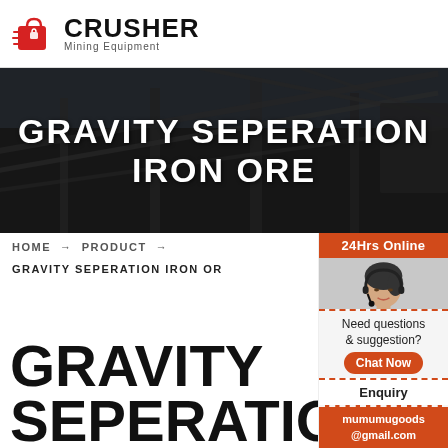[Figure (logo): Crusher Mining Equipment logo with red shopping bag icon and bold text]
[Figure (photo): Dark industrial mining equipment scene used as hero background with overlay]
GRAVITY SEPERATION IRON ORE
[Figure (photo): 24Hrs Online support sidebar with photo of woman wearing headset]
HOME → PRODUCT →
GRAVITY SEPERATION IRON ORE
Need questions & suggestion?
Chat Now
Enquiry
mumumugoods@gmail.com
GRAVITY SEPERATION